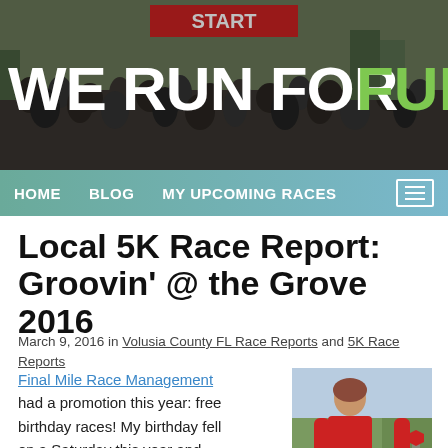[Figure (photo): Header banner photo of a race start crowd with 'START' banner overhead, with 'WE RUN FOR FUN' text overlaid in white and green]
HOME   BLOG   MY UPCOMING RACES
Local 5K Race Report: Groovin' @ the Grove 2016
March 9, 2016 in Volusia County FL Race Reports and 5K Race Reports
Final Mile Race Management had a promotion this year: free birthday races! My birthday fell on a Saturday this year and there happened to be a race, Groovin' @The Grove 5k & Family Fun Run in Deland. I got
[Figure (photo): Woman in red jacket wearing race bib number 941 standing outdoors]